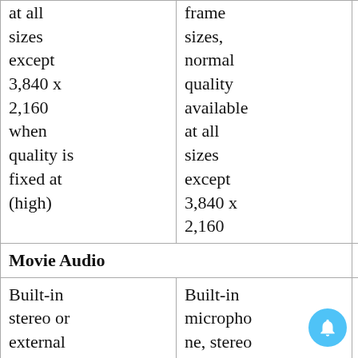| at all sizes except 3,840 x 2,160 when quality is fixed at (high) | frame sizes, normal quality available at all sizes except 3,840 x 2,160 |  |
| Movie Audio |  |  |
| Built-in stereo or external | Built-in microphone, stereo External |  |